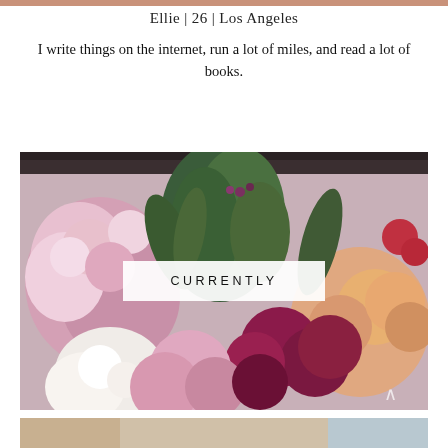Ellie | 26 | Los Angeles
I write things on the internet, run a lot of miles, and read a lot of books.
[Figure (photo): A lush arrangement of flowers including pink peonies, white lisianthus, deep magenta dahlias, peach dahlias, and green foliage displayed below a black metal frame or shelf, with a white overlay box in the center reading CURRENTLY. A partially visible arrow/chevron icon appears at the bottom right.]
CURRENTLY
[Figure (photo): Partial photo visible at the bottom of the page, appears to show a person outdoors.]